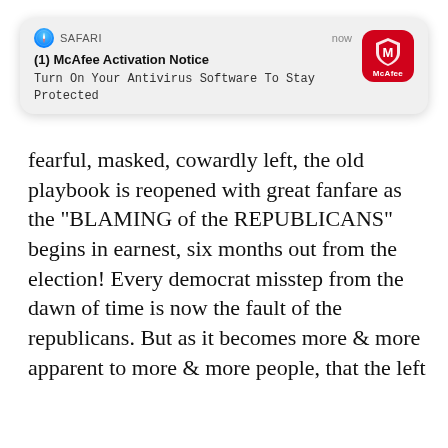[Figure (screenshot): iOS Safari browser notification popup: '(1) McAfee Activation Notice - Turn On Your Antivirus Software To Stay Protected', with McAfee red icon on the right, timestamp 'now']
fearful, masked, cowardly left, the old playbook is reopened with great fanfare as the "BLAMING of the REPUBLICANS" begins in earnest, six months out from the election! Every democrat misstep from the dawn of time is now the fault of the republicans. But as it becomes more & more apparent to more & more people, that the left